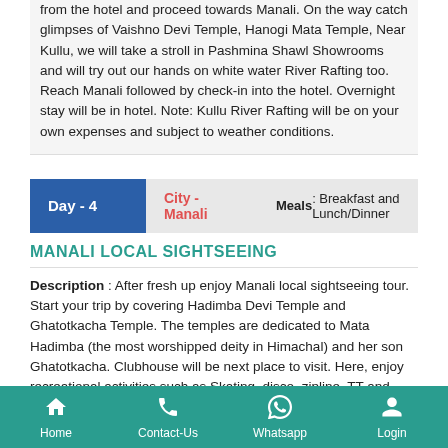from the hotel and proceed towards Manali. On the way catch glimpses of Vaishno Devi Temple, Hanogi Mata Temple, Near Kullu, we will take a stroll in Pashmina Shawl Showrooms and will try out our hands on white water River Rafting too. Reach Manali followed by check-in into the hotel. Overnight stay will be in hotel. Note: Kullu River Rafting will be on your own expenses and subject to weather conditions.
| Day | City | Meals |
| --- | --- | --- |
| Day - 4 | City - Manali | Meals : Breakfast and Lunch/Dinner |
MANALI LOCAL SIGHTSEEING
Description : After fresh up enjoy Manali local sightseeing tour. Start your trip by covering Hadimba Devi Temple and Ghatotkacha Temple. The temples are dedicated to Mata Hadimba (the most worshipped deity in Himachal) and her son Ghatotkacha. Clubhouse will be next place to visit. Here, enjoy recreational activities such as Skating, disco, zipline, TT and much more. Later bathe yourselves
Home   Contact-Us   Whatsapp   Login